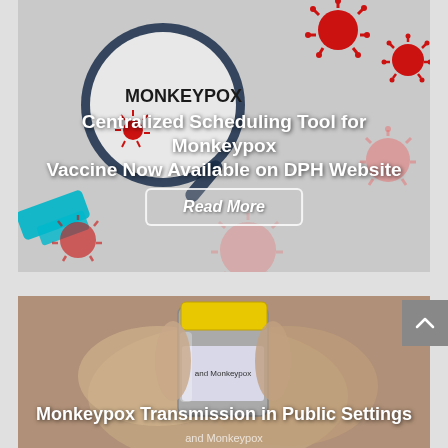[Figure (photo): Illustrated background with magnifying glass showing 'MONKEYPOX' text and red virus particles on grey background. Card with title overlay: 'Centralized Scheduling Tool for Monkeypox Vaccine Now Available on DPH Website' and a 'Read More' button.]
Centralized Scheduling Tool for Monkeypox Vaccine Now Available on DPH Website
[Figure (photo): Close-up photo of a hand holding a vaccine vial with yellow cap labeled 'and Monkeypox'. Title overlay: 'Monkeypox Transmission in Public Settings'.]
Monkeypox Transmission in Public Settings